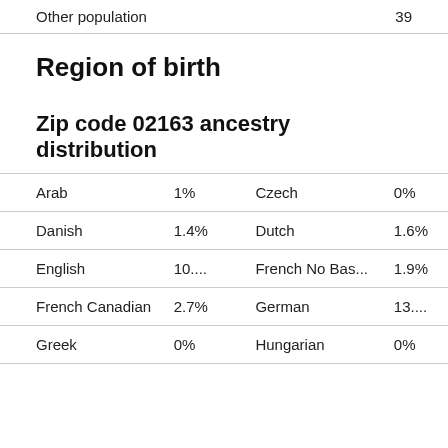| Other population | 39 |
Region of birth
Zip code 02163 ancestry distribution
| Arab | 1% | Czech | 0% |
| Danish | 1.4% | Dutch | 1.6% |
| English | 10.... | French No Bas... | 1.9% |
| French Canadian | 2.7% | German | 13.... |
| Greek | 0% | Hungarian | 0% |